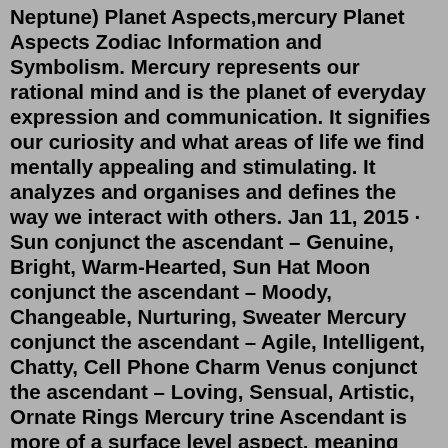Neptune) Planet Aspects,mercury Planet Aspects Zodiac Information and Symbolism. Mercury represents our rational mind and is the planet of everyday expression and communication. It signifies our curiosity and what areas of life we find mentally appealing and stimulating. It analyzes and organises and defines the way we interact with others. Jan 11, 2015 · Sun conjunct the ascendant – Genuine, Bright, Warm-Hearted, Sun Hat Moon conjunct the ascendant – Moody, Changeable, Nurturing, Sweater Mercury conjunct the ascendant – Agile, Intelligent, Chatty, Cell Phone Charm Venus conjunct the ascendant – Loving, Sensual, Artistic, Ornate Rings Mercury trine Ascendant is more of a surface level aspect, meaning you're good in social situations with small talk, but these skills may not apply to deeper, one-on-one conversations. Sometimes, you may find yourself starting to gossip a bit. This is because the trine aspect is so easy that you get stuck in surface level territory.Dec 30, 2019 · The Mercury trine Jupiter transit helps those who are open-minded and